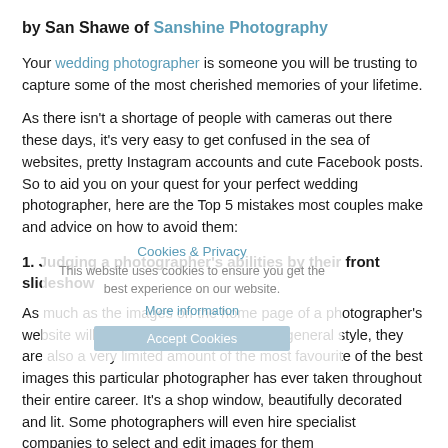by San Shawe of Sanshine Photography
Your wedding photographer is someone you will be trusting to capture some of the most cherished memories of your lifetime.
As there isn't a shortage of people with cameras out there these days, it's very easy to get confused in the sea of websites, pretty Instagram accounts and cute Facebook posts. So to aid you on your quest for your perfect wedding photographer, here are the Top 5 mistakes most couples make and advice on how to avoid them:
1. Judging a photographer's abilities by their front slideshow
As much as the images on the home page of a photographer's website will give you a good idea of their general style, they are also a very limited amount of the most favourite of the best images this particular photographer has ever taken throughout their entire career. It's a shop window, beautifully decorated and lit. Some photographers will even hire specialist companies to select and edit images for them